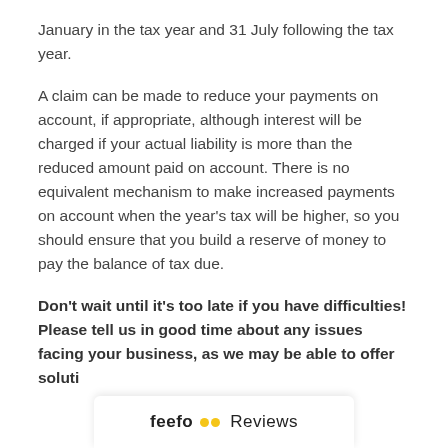January in the tax year and 31 July following the tax year.
A claim can be made to reduce your payments on account, if appropriate, although interest will be charged if your actual liability is more than the reduced amount paid on account. There is no equivalent mechanism to make increased payments on account when the year's tax will be higher, so you should ensure that you build a reserve of money to pay the balance of tax due.
Don't wait until it's too late if you have difficulties! Please tell us in good time about any issues facing your business, as we may be able to offer soluti…
[Figure (logo): Feefo Reviews logo bar at the bottom of the page]